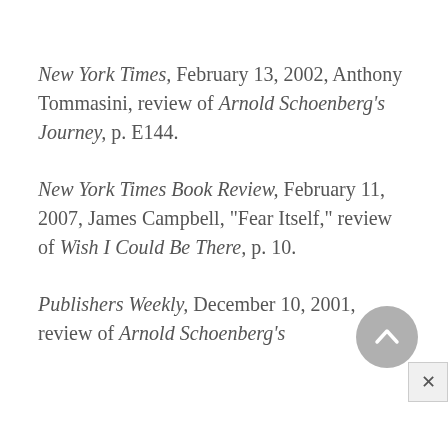New York Times, February 13, 2002, Anthony Tommasini, review of Arnold Schoenberg's Journey, p. E144.
New York Times Book Review, February 11, 2007, James Campbell, "Fear Itself," review of Wish I Could Be There, p. 10.
Publishers Weekly, December 10, 2001, review of Arnold Schoenberg's